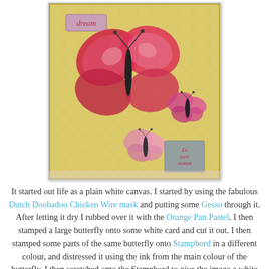[Figure (photo): A canvas art piece with a yellow honeycomb-textured background featuring multiple butterfly collages in red, pink, and purple tones. A small pink label reading 'dream' is in the upper left, and a small tag reading 'en each moment' is in the lower right.]
It started out life as a plain white canvas. I started by using the fabulous Dutch Doobadoo Chicken Wire mask and putting some Gesso through it. After letting it dry I rubbed over it with the Orange Pan Pastel. I then stamped a large butterfly onto some white card and cut it out. I then stamped some parts of the same butterfly onto Stampbord in a different colour, and distressed it using the ink from the main colour of the butterfly. I then scratched onto the Stampbord to give the image a white outline to make it pop out. I then stamped some butterflies from the A5